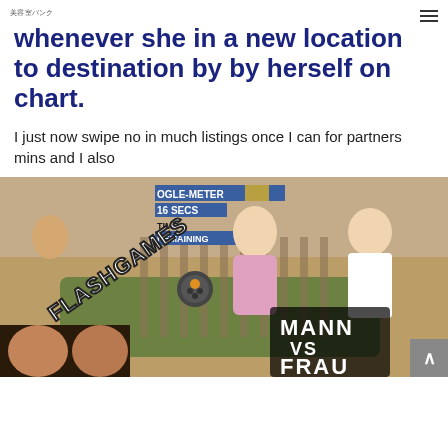美容室バンク
whenever she in a new location to destination by by herself on chart.
I just now swipe no in much listings once I can for partners mins and I also
[Figure (photo): Meme image showing animated characters with text overlays 'OGLE-METER', '16 SECS', 'FLASHGAMES' with game controller icon, 'MANN VS FRAU', and two real photos of people at bottom left.]